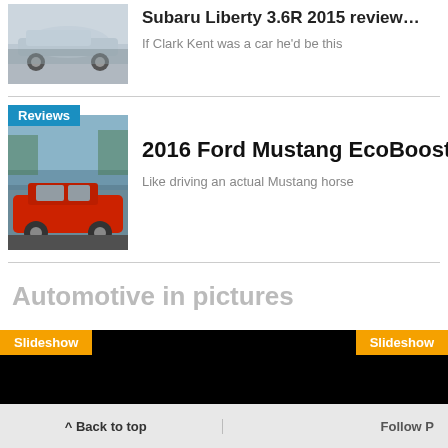[Figure (photo): Silver Subaru Liberty sedan parked outdoors]
Subaru Liberty 3.6R 2015 review
If Clark Kent was a car he'd be this
Reviews
[Figure (photo): Red Ford Mustang EcoBoost convertible parked near water]
2016 Ford Mustang EcoBoost review
Like driving an actual Mustang horse
Automotive in pictures
Slideshow
Slideshow
^ Back to top    Follow P